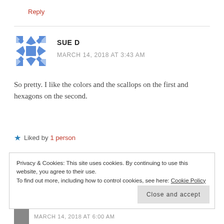Reply
[Figure (illustration): Blue geometric quilt-pattern avatar icon for user Sue D]
SUE D
MARCH 14, 2018 AT 3:43 AM
So pretty. I like the colors and the scallops on the first and hexagons on the second.
Liked by 1 person
Privacy & Cookies: This site uses cookies. By continuing to use this website, you agree to their use.
To find out more, including how to control cookies, see here: Cookie Policy
Close and accept
MARCH 14, 2018 AT 6:00 AM